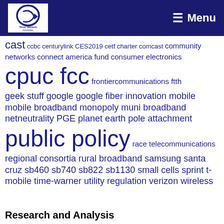[Figure (logo): Telus Venture Associates logo with arrow icon, white background, in dark navy header bar]
≡ Menu
cast ccbc centurylink CES2019 cetf charter comcast community networks connect america fund consumer electronics cpuc fcc frontiercommunications ftth geek stuff google google fiber innovation mobile mobile broadband monopoly muni broadband netneutrality PGE planet earth pole attachment public policy race telecommunications regional consortia rural broadband samsung santa cruz sb460 sb740 sb822 sb1130 small cells sprint t-mobile time-warner utility regulation verizon wireless
Research and Analysis